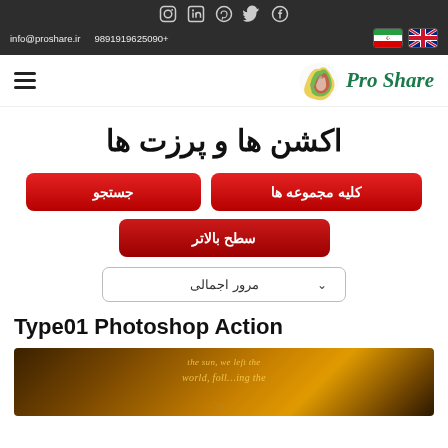info@proshare.ir   9891919625090+
[Figure (logo): Pro Share logo with colorful paint splash graphic and green italic script text]
اکشن ها و پرزت ها
کلیه مجموعه ها
جستجو
سطح بالاتر
مرور اجمالی
Type01 Photoshop Action
[Figure (photo): Dark golden-toned photoshop action preview image with text overlay reading 'the sun, we left the world, following the']